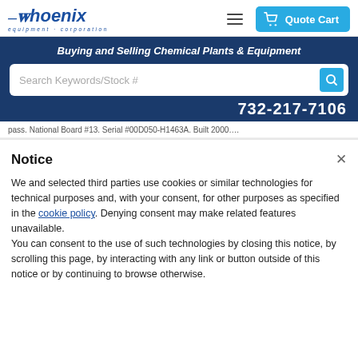[Figure (logo): Phoenix Equipment Corporation logo with italic blue text and arrow, subtitle 'equipment corporation']
[Figure (other): Hamburger menu icon (three horizontal lines)]
[Figure (other): Quote Cart button with shopping cart icon in light blue]
Buying and Selling Chemical Plants & Equipment
Search Keywords/Stock #
732-217-7106
pass. National Board #13. Serial #00D050-H1463A. Built 2000….
Notice
We and selected third parties use cookies or similar technologies for technical purposes and, with your consent, for other purposes as specified in the cookie policy. Denying consent may make related features unavailable.
You can consent to the use of such technologies by closing this notice, by scrolling this page, by interacting with any link or button outside of this notice or by continuing to browse otherwise.